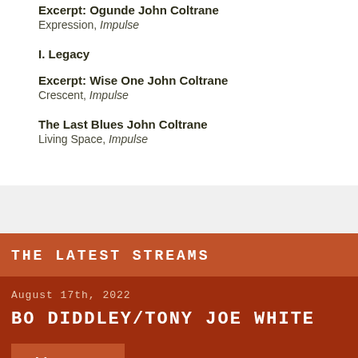Excerpt: Ogunde John Coltrane
Expression, Impulse
I. Legacy
Excerpt: Wise One John Coltrane
Crescent, Impulse
The Last Blues John Coltrane
Living Space, Impulse
THE LATEST STREAMS
August 17th, 2022
BO DIDDLEY/TONY JOE WHITE
Listen ▶